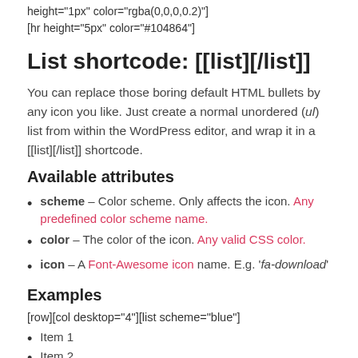height="1px" color="rgba(0,0,0,0.2)"
[hr height="5px" color="#104864"]
List shortcode: [[list][/list]]
You can replace those boring default HTML bullets by any icon you like. Just create a normal unordered (ul) list from within the WordPress editor, and wrap it in a [[list][/list]] shortcode.
Available attributes
scheme – Color scheme. Only affects the icon. Any predefined color scheme name.
color – The color of the icon. Any valid CSS color.
icon – A Font-Awesome icon name. E.g. 'fa-download'
Examples
[row][col desktop="4"][list scheme="blue"]
Item 1
Item 2